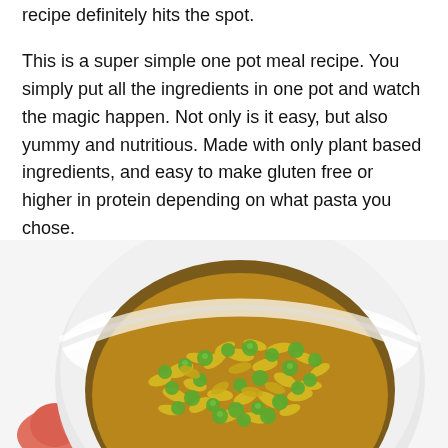recipe definitely hits the spot.
This is a super simple one pot meal recipe. You simply put all the ingredients in one pot and watch the magic happen. Not only is it easy, but also yummy and nutritious. Made with only plant based ingredients, and easy to make gluten free or higher in protein depending on what pasta you chose.
[Figure (photo): A white bowl filled with curly yellow-green rotini pasta mixed with green peas and a golden-brown sauce, held by a hand with pink fingertips visible at the bottom-left, against a white background.]